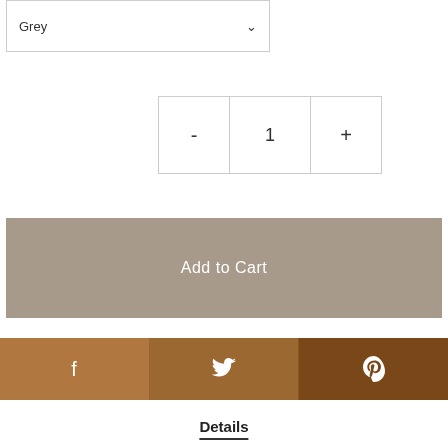Grey
- 1 +
Add to Cart
[Figure (infographic): Social share bar with Facebook, Twitter, and Pinterest icons in brown/tan color blocks]
Details
Presenting a stunning collection by North Berwick based artist Esther Cohen.
Esther's distinctive style is immediately recognisable, her skyline silhouettes, coastal scenes, landmarks and bothys bring a fresh new approach to the subject, each one veiled in tranquility.